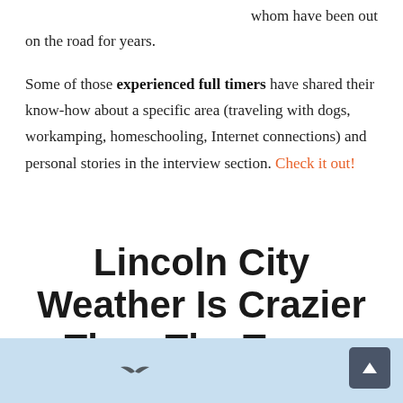whom have been out on the road for years.
Some of those experienced full timers have shared their know-how about a specific area (traveling with dogs, workamping, homeschooling, Internet connections) and personal stories in the interview section. Check it out!
Lincoln City Weather Is Crazier Than The Town
[Figure (photo): Light blue sky background, partial view of image at bottom of page with small bird silhouette visible]